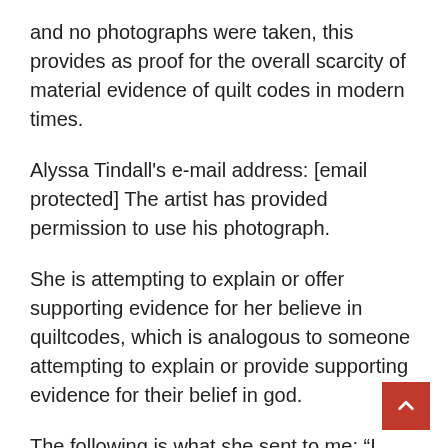and no photographs were taken, this provides as proof for the overall scarcity of material evidence of quilt codes in modern times.
Alyssa Tindall's e-mail address: [email protected] The artist has provided permission to use his photograph.
She is attempting to explain or offer supporting evidence for her believe in quiltcodes, which is analogous to someone attempting to explain or provide supporting evidence for their belief in god.
The following is what she sent to me: “I consider myself a believer in Jesus Christ as well as a lady of Faith, storyteller, and an